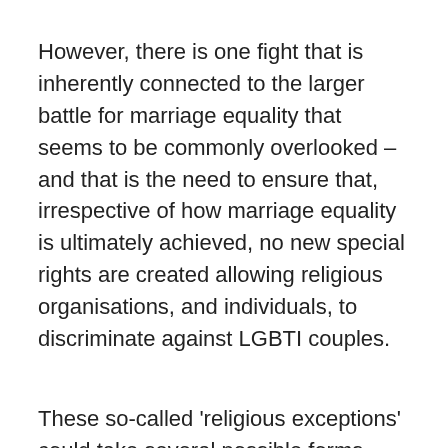However, there is one fight that is inherently connected to the larger battle for marriage equality that seems to be commonly overlooked – and that is the need to ensure that, irrespective of how marriage equality is ultimately achieved, no new special rights are created allowing religious organisations, and individuals, to discriminate against LGBTI couples.
These so-called 'religious exceptions' could take several possible forms. The narrowest version would be the introduction of a new right for civil celebrants and other celebrants, like military chaplains, who are not ministers of religion to be able to refuse to officiate ceremonies solely on the basis of the sexual orientation, gender identity or